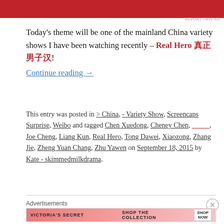[Figure (other): Red advertisement banner at top of page]
Today's theme will be one of the mainland China variety shows I have been watching recently – Real Hero 真正男子汉! Continue reading →
This entry was posted in > China, - Variety Show, Screencaps Surprise, Weibo and tagged Chen Xuedong, Cheney Chen, _____, Joe Cheng, Liang Kun, Real Hero, Tong Dawei, Xiaozong, Zhang Jie, Zheng Yuan Chang, Zhu Yawen on September 18, 2015 by Kate - skimmedmilkdrama.
Advertisements
[Figure (other): Victoria's Secret advertisement banner at bottom]